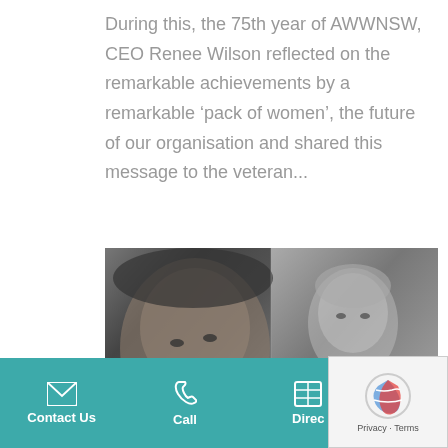During this, the 75th year of AWWNSW, CEO Renee Wilson reflected on the remarkable achievements by a remarkable ‘pack of women’, the future of our organisation and shared this message to the veteran...
[Figure (photo): Black and white photograph showing two women. On the left, a woman wearing a decorated hat, laughing and looking upward. On the right, an older woman in formal attire with a necklace, looking directly at the camera.]
Contact Us | Call | Direc...